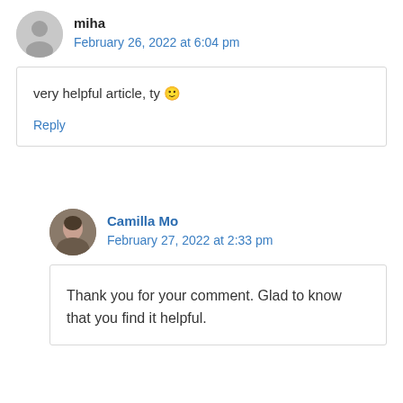miha
February 26, 2022 at 6:04 pm
very helpful article, ty 🙂
Reply
Camilla Mo
February 27, 2022 at 2:33 pm
Thank you for your comment. Glad to know that you find it helpful.